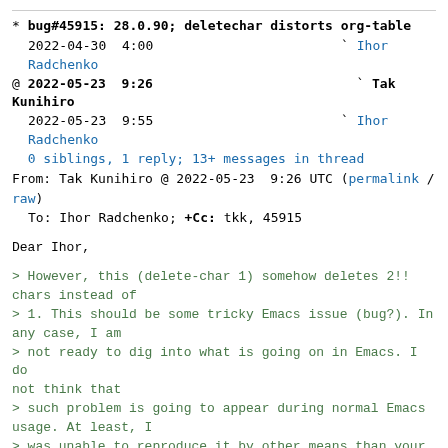* bug#45915: 28.0.90; deletechar distorts org-table
  2022-04-30  4:00                         ` Ihor Radchenko
@ 2022-05-23  9:26                           ` Tak Kunihiro
  2022-05-23  9:55                         ` Ihor Radchenko
  0 siblings, 1 reply; 13+ messages in thread
From: Tak Kunihiro @ 2022-05-23  9:26 UTC (permalink / raw)
   To: Ihor Radchenko; +Cc: tkk, 45915
Dear Ihor,
> However, this (delete-char 1) somehow deletes 2!! chars instead of
> 1. This should be some tricky Emacs issue (bug?). In any case, I am
> not ready to dig into what is going on in Emacs. I do not think that
> such problem is going to appear during normal Emacs usage. At least, I
> was unable to reproduce it by other means than your reproducer
> function.
>
> To illustrate the issue, one can use the following version of the
> reproducer. Feel free to report this to Emacs upstream.